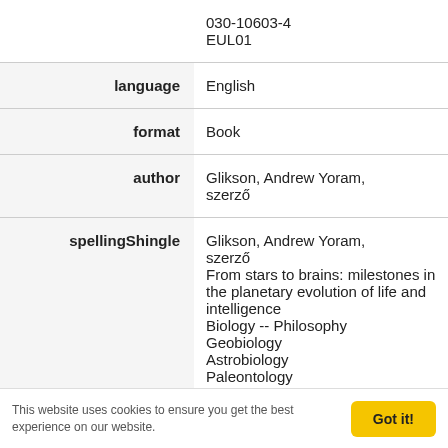|  | 030-10603-4
EUL01 |
| language | English |
| format | Book |
| author | Glikson, Andrew Yoram, szerző |
| spellingShingle | Glikson, Andrew Yoram, szerző
From stars to brains: milestones in the planetary evolution of life and intelligence
Biology -- Philosophy
Geobiology
Astrobiology
Paleontology
Evolution, biological |
This website uses cookies to ensure you get the best experience on our website.